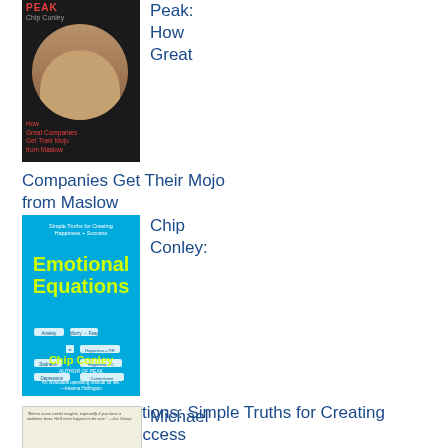[Figure (photo): Book cover of Peak by Chip Conley - dark/black background with author's bald head photo and red title text]
Peak: How Great Companies Get Their Mojo from Maslow
[Figure (photo): Book cover of Emotional Equations by Chip Conley - bright blue background with yellow-green title text and diagram]
Chip Conley:
Emotional Equations: Simple Truths for Creating Happiness + Success
[Figure (photo): Partial book cover with light/cream background and small text quote at top]
Michael